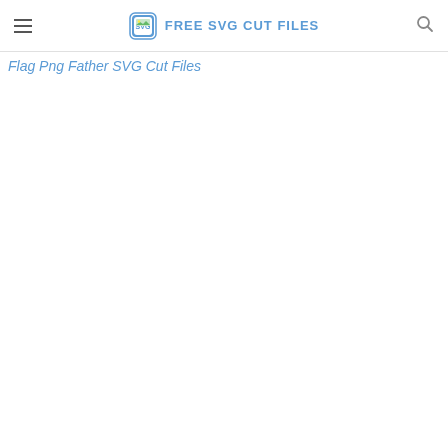FREE SVG CUT FILES
Flag Png Father SVG Cut Files